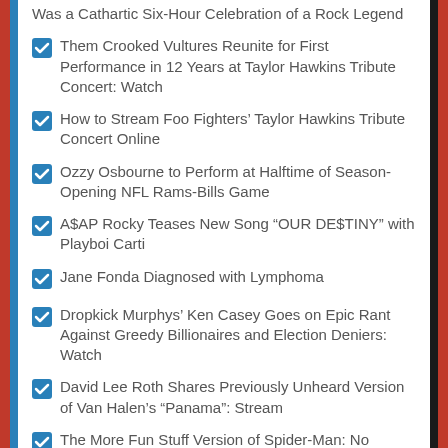Was a Cathartic Six-Hour Celebration of a Rock Legend
Them Crooked Vultures Reunite for First Performance in 12 Years at Taylor Hawkins Tribute Concert: Watch
How to Stream Foo Fighters' Taylor Hawkins Tribute Concert Online
Ozzy Osbourne to Perform at Halftime of Season-Opening NFL Rams-Bills Game
A$AP Rocky Teases New Song “OUR DE$TINY” with Playboi Carti
Jane Fonda Diagnosed with Lymphoma
Dropkick Murphys’ Ken Casey Goes on Epic Rant Against Greedy Billionaires and Election Deniers: Watch
David Lee Roth Shares Previously Unheard Version of Van Halen’s “Panama”: Stream
The More Fun Stuff Version of Spider-Man: No